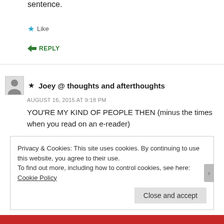sentence.
★ Like
➤ REPLY
★ Joey @ thoughts and afterthoughts
AUGUST 16, 2015 AT 9:18 PM
YOU'RE MY KIND OF PEOPLE THEN (minus the times when you read on an e-reader)
★ Like
Privacy & Cookies: This site uses cookies. By continuing to use this website, you agree to their use.
To find out more, including how to control cookies, see here: Cookie Policy
Close and accept